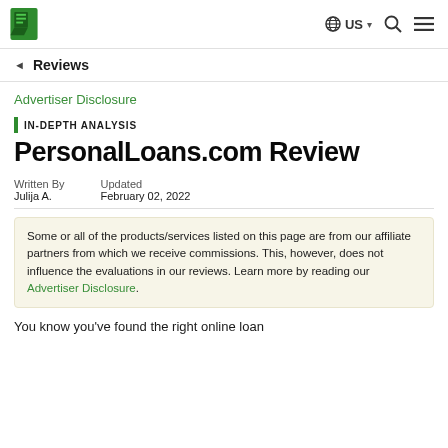US | Reviews
Reviews
Advertiser Disclosure
IN-DEPTH ANALYSIS
PersonalLoans.com Review
Written By
Julija A.
Updated
February 02, 2022
Some or all of the products/services listed on this page are from our affiliate partners from which we receive commissions. This, however, does not influence the evaluations in our reviews. Learn more by reading our Advertiser Disclosure.
You know you've found the right online loan